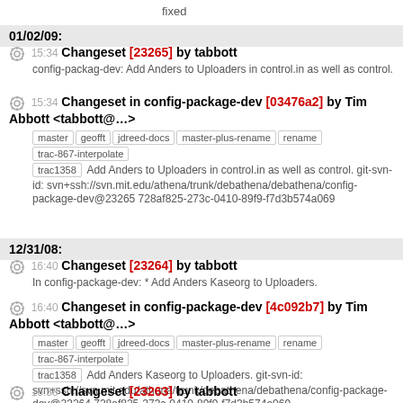fixed
01/02/09:
15:34 Changeset [23265] by tabbott
config-packag-dev: Add Anders to Uploaders in control.in as well as control.
15:34 Changeset in config-package-dev [03476a2] by Tim Abbott <tabbott@...>
master geofft jdreed-docs master-plus-rename rename trac-867-interpolate trac1358
Add Anders to Uploaders in control.in as well as control. git-svn-id: svn+ssh://svn.mit.edu/athena/trunk/debathena/debathena/config-package-dev@23265 728af825-273c-0410-89f9-f7d3b574a069
12/31/08:
16:40 Changeset [23264] by tabbott
In config-package-dev: * Add Anders Kaseorg to Uploaders.
16:40 Changeset in config-package-dev [4c092b7] by Tim Abbott <tabbott@...>
master geofft jdreed-docs master-plus-rename rename trac-867-interpolate trac1358
Add Anders Kaseorg to Uploaders. git-svn-id: svn+ssh://svn.mit.edu/athena/trunk/debathena/debathena/config-package-dev@23264 728af825-273c-0410-89f9-f7d3b574a069
16:38 Changeset [23263] by tabbott